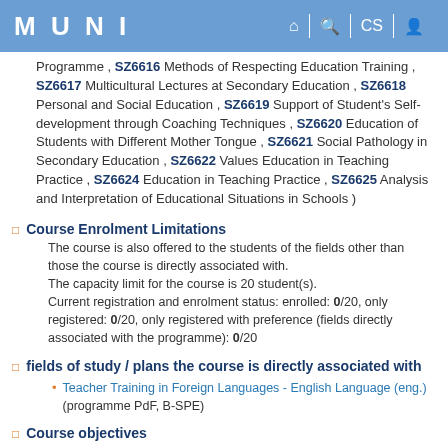MUNI
Programme , SZ6616 Methods of Respecting Education Training , SZ6617 Multicultural Lectures at Secondary Education , SZ6618 Personal and Social Education , SZ6619 Support of Student's Self-development through Coaching Techniques , SZ6620 Education of Students with Different Mother Tongue , SZ6621 Social Pathology in Secondary Education , SZ6622 Values Education in Teaching Practice , SZ6624 Education in Teaching Practice , SZ6625 Analysis and Interpretation of Educational Situations in Schools )
Course Enrolment Limitations
The course is also offered to the students of the fields other than those the course is directly associated with.
The capacity limit for the course is 20 student(s).
Current registration and enrolment status: enrolled: 0/20, only registered: 0/20, only registered with preference (fields directly associated with the programme): 0/20
fields of study / plans the course is directly associated with
Teacher Training in Foreign Languages - English Language (eng.) (programme PdF, B-SPE)
Course objectives